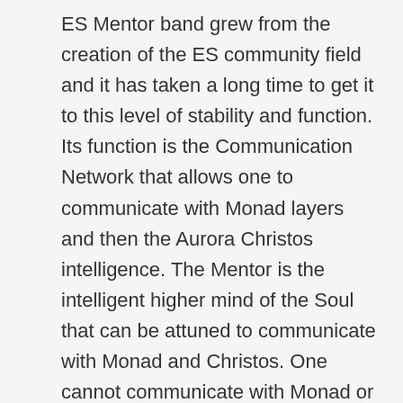ES Mentor band grew from the creation of the ES community field and it has taken a long time to get it to this level of stability and function. Its function is the Communication Network that allows one to communicate with Monad layers and then the Aurora Christos intelligence. The Mentor is the intelligent higher mind of the Soul that can be attuned to communicate with Monad and Christos. One cannot communicate with Monad or Christos, until the Mentor takes over from the lower Three Layers of Ego. One connects the Third Eye, attempts to go around the Pineal Cages, and connect the intelligent energy of the Indigo 6D stream with the 5D Blue stream at the navel area, where the false umbilicus is placed. The exercise is to activate the complete soul matrix intelligent